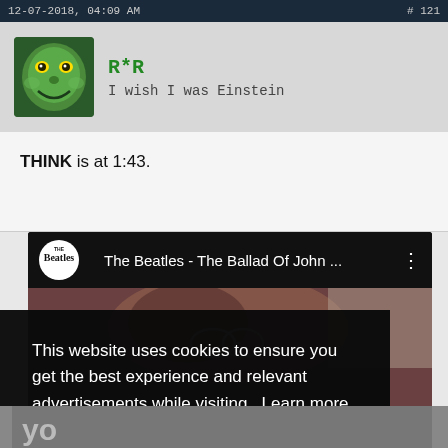12-07-2018, 04:09 AM   # 121
[Figure (photo): Forum user avatar showing a Grinch character profile picture]
R*R
I wish I was Einstein
THINK is at 1:43.
[Figure (screenshot): YouTube embed showing 'The Beatles - The Ballad Of John ...' with Beatles logo and thumbnail of a person lying down]
This website uses cookies to ensure you get the best experience and relevant advertisements while visiting. Learn more
Got it!